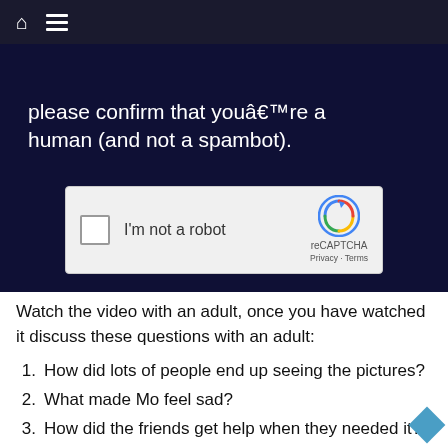Home / Menu navigation bar
[Figure (screenshot): Dark navy panel showing partial text 'please confirm that youâ€™re a human (and not a spambot).' with a reCAPTCHA widget below containing a checkbox labeled 'I'm not a robot' and the reCAPTCHA logo with Privacy and Terms links]
Watch the video with an adult, once you have watched it discuss these questions with an adult:
How did lots of people end up seeing the pictures?
What made Mo feel sad?
How did the friends get help when they needed it?
What did Miss Humphrey say she would do to